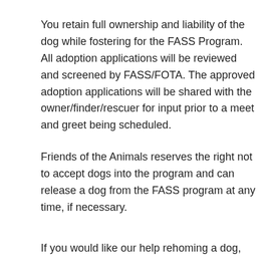You retain full ownership and liability of the dog while fostering for the FASS Program. All adoption applications will be reviewed and screened by FASS/FOTA. The approved adoption applications will be shared with the owner/finder/rescuer for input prior to a meet and greet being scheduled.
Friends of the Animals reserves the right not to accept dogs into the program and can release a dog from the FASS program at any time, if necessary.
If you would like our help rehoming a dog,